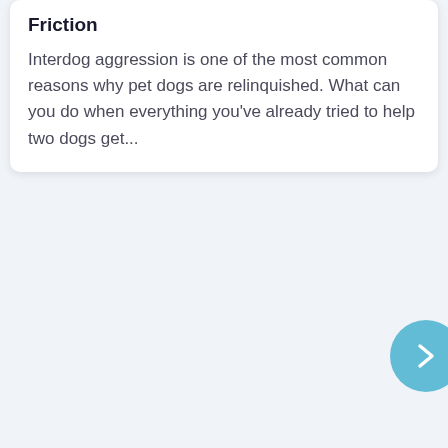Friction
Interdog aggression is one of the most common reasons why pet dogs are relinquished. What can you do when everything you've already tried to help two dogs get...
[Figure (other): A circular light blue navigation button with a right-pointing chevron arrow, partially visible at the bottom right edge of the page.]